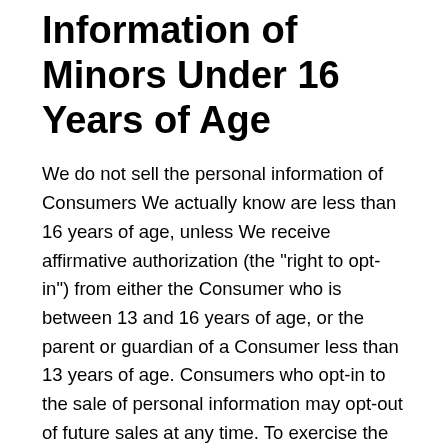Information of Minors Under 16 Years of Age
We do not sell the personal information of Consumers We actually know are less than 16 years of age, unless We receive affirmative authorization (the "right to opt-in") from either the Consumer who is between 13 and 16 years of age, or the parent or guardian of a Consumer less than 13 years of age. Consumers who opt-in to the sale of personal information may opt-out of future sales at any time. To exercise the right to opt-out, You (or Your authorized representative) may submit a request to Us by contacting Us.
If You have reason to believe that a child under the age of 13 (or 16) has provided Us with personal information,